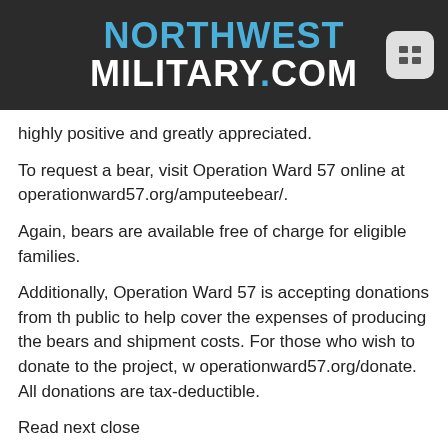NORTHWEST MILITARY.COM
highly positive and greatly appreciated.
To request a bear, visit Operation Ward 57 online at operationward57.org/amputeebear/.
Again, bears are available free of charge for eligible families.
Additionally, Operation Ward 57 is accepting donations from the public to help cover the expenses of producing the bears and shipment costs. For those who wish to donate to the project, visit operationward57.org/donate. All donations are tax-deductible.
Read next close
News
One hundred years of service
Margaret Ricker on November 9th, 2015